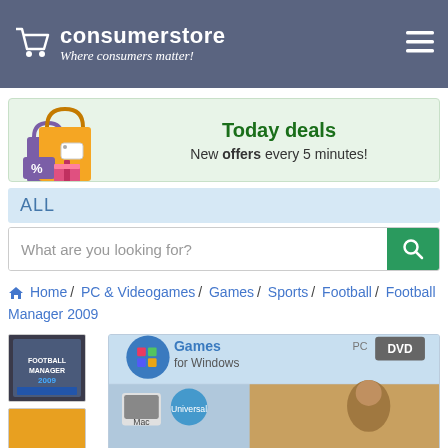[Figure (logo): Consumerstore logo with shopping cart icon and tagline 'Where consumers matter!']
[Figure (infographic): Today deals banner with shopping bags illustration. Text: 'Today deals - New offers every 5 minutes!']
ALL
What are you looking for?
Home / PC & Videogames / Games / Sports / Football / Football Manager 2009
[Figure (photo): Football Manager 2009 product page with thumbnail of game cover and main image showing 'Games for Windows PC DVD' label and Mac/Universal logos]